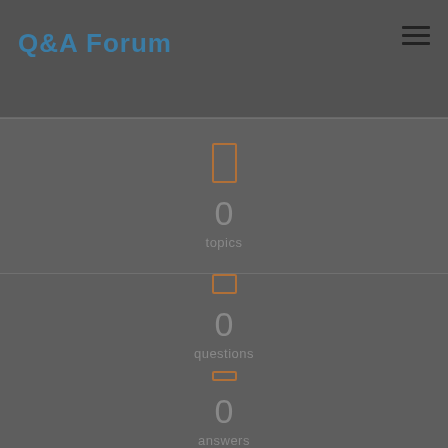Q&A Forum
0 topics
0 questions
0 answers